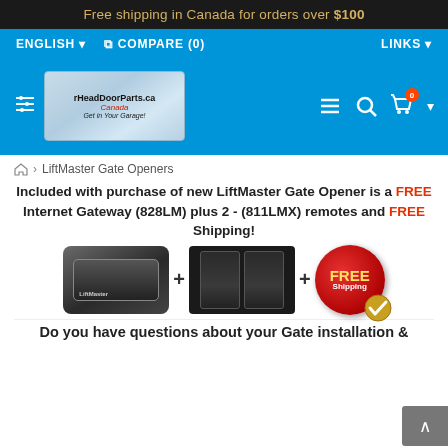Free shipping in Canada for orders over $100
ENGLISH   COMPARE (0)   LINKS
[Figure (logo): OverHeadDoorParts.ca Canada logo with Canadian map and tagline 'Get in Your Garage!']
Home > LiftMaster Gate Openers
Included with purchase of new LiftMaster Gate Opener is a FREE Internet Gateway (828LM) plus 2 - (811LMX) remotes and FREE Shipping!
[Figure (photo): LiftMaster gate opener unit plus two 811LMX remotes plus FREE Shipping badge with checkmark]
Do you have questions about your Gate installation &